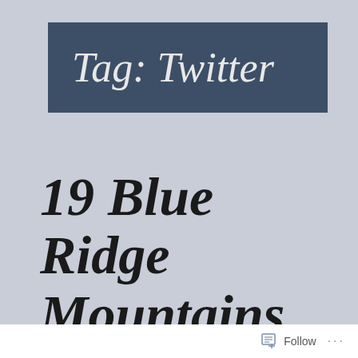Tag: Twitter
19 Blue Ridge Mountains Trivia Answers
Follow ...